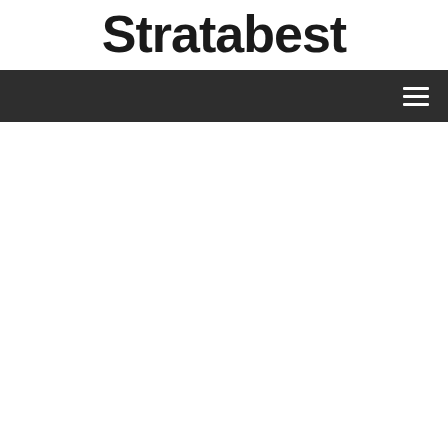Stratabest
[Figure (other): Navigation bar with dark background (#2e2e2e) and hamburger menu icon (three horizontal white lines) aligned to the right side]